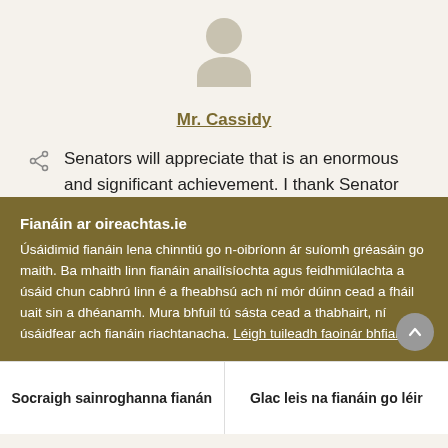[Figure (illustration): Generic user avatar: circular head above a rounded body shape, both in beige/tan color]
Mr. Cassidy
Senators will appreciate that is an enormous and significant achievement. I thank Senator
Fianáin ar oireachtas.ie
Úsáidimid fianáin lena chinntiú go n-oibríonn ár suíomh gréasáin go maith. Ba mhaith linn fianáin anailísíochta agus feidhmiúlachta a úsáid chun cabhrú linn é a fheabhsú ach ní mór dúinn cead a fháil uait sin a dhéanamh. Mura bhfuil tú sásta cead a thabhairt, ní úsáidfear ach fianáin riachtanacha. Léigh tuileadh faoinár bhfianáin
Socraigh sainroghanna fianán
Glac leis na fianáin go léir